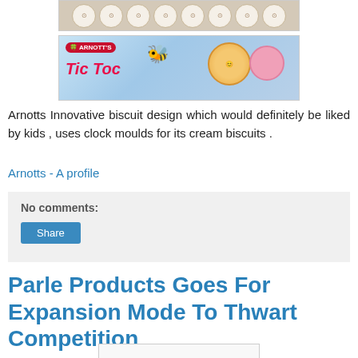[Figure (photo): Row of round cream biscuits with clock face designs on a wooden surface]
[Figure (photo): Arnott's Tic Toc biscuit package on light blue background with cartoon bee and biscuit images]
Arnotts  Innovative biscuit  design  which  would definitely be  liked by kids ,  uses clock moulds  for its  cream biscuits .
Arnotts -  A profile
No comments:
Share
Parle Products Goes For Expansion Mode To Thwart Competition